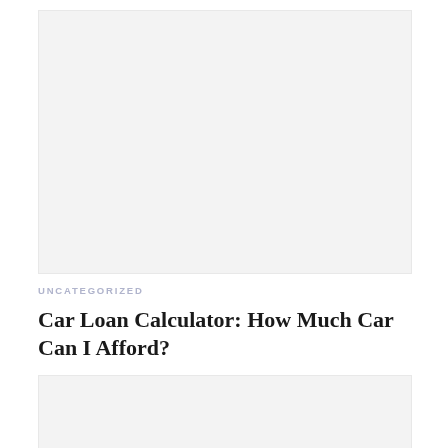[Figure (other): Gray placeholder image box at top of page]
UNCATEGORIZED
Car Loan Calculator: How Much Car Can I Afford?
[Figure (other): Gray placeholder image box at bottom of page]